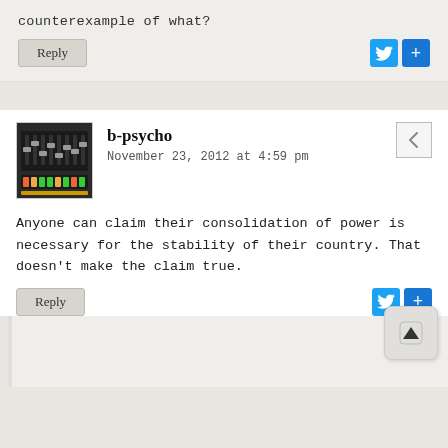counterexample of what?
Reply
b-psycho
November 23, 2012 at 4:59 pm
Anyone can claim their consolidation of power is necessary for the stability of their country. That doesn't make the claim true.
Reply